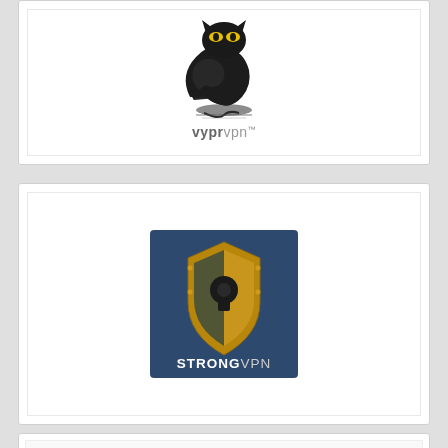[Figure (logo): VyprVPN logo — black tornado/snake creature with yellow eyes above the text 'vypr vpn' in gray]
[Figure (logo): StrongVPN logo — gold shield with dark panels and a keyhole, text 'STRONGVPN' at the bottom, on a dark blue square background]
[Figure (logo): Partial third card visible at bottom of page]